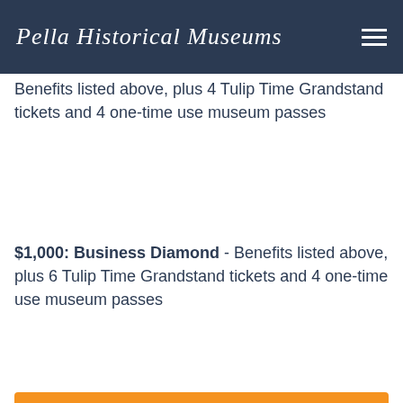Pella Historical Museums
museum passes
$500: Business Platinum - Benefits listed above, plus 4 Tulip Time Grandstand tickets and 4 one-time use museum passes
$1,000: Business Diamond - Benefits listed above, plus 6 Tulip Time Grandstand tickets and 4 one-time use museum passes
[Figure (other): Orange rectangle banner/button area]
Print and mail the appropriate form below.
Individual/Family →